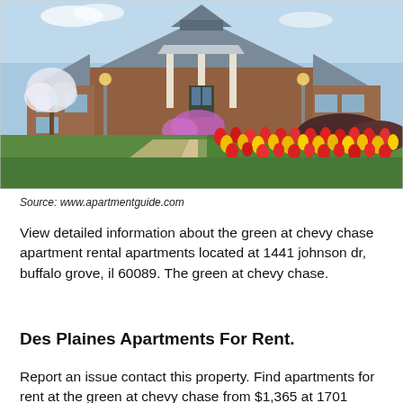[Figure (photo): Exterior photo of a brick apartment building with a covered entrance portico, blooming trees, landscaped gardens with colorful red and yellow tulips along a curved walkway, and green shrubbery.]
Source: www.apartmentguide.com
View detailed information about the green at chevy chase apartment rental apartments located at 1441 johnson dr, buffalo grove, il 60089. The green at chevy chase.
Des Plaines Apartments For Rent.
Report an issue contact this property. Find apartments for rent at the green at chevy chase from $1,365 at 1701 johnson dr in buffalo